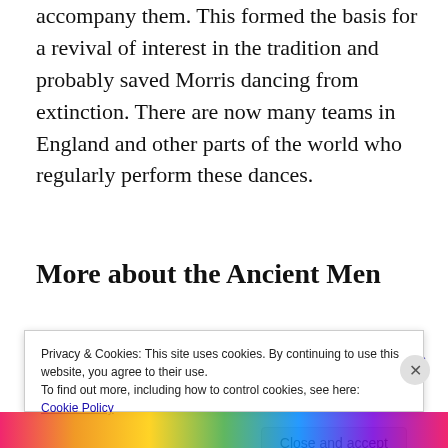accompany them. This formed the basis for a revival of interest in the tradition and probably saved Morris dancing from extinction. There are now many teams in England and other parts of the world who regularly perform these dances.
More about the Ancient Men
Privacy & Cookies: This site uses cookies. By continuing to use this website, you agree to their use.
To find out more, including how to control cookies, see here:
Cookie Policy